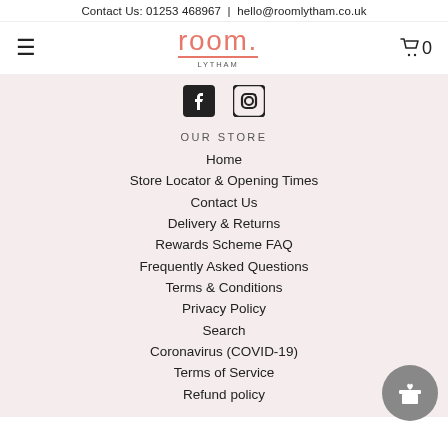Contact Us: 01253 468967 | hello@roomlytham.co.uk
[Figure (logo): Room Lytham logo with hamburger menu icon on left and shopping cart with 0 on right]
[Figure (illustration): Facebook and Instagram social media icons]
OUR STORE
Home
Store Locator & Opening Times
Contact Us
Delivery & Returns
Rewards Scheme FAQ
Frequently Asked Questions
Terms & Conditions
Privacy Policy
Search
Coronavirus (COVID-19)
Terms of Service
Refund policy